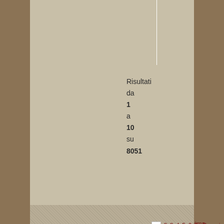Risultati da 1 a 10 su 8051
1 2 3 4 5 6 7 Prossima >